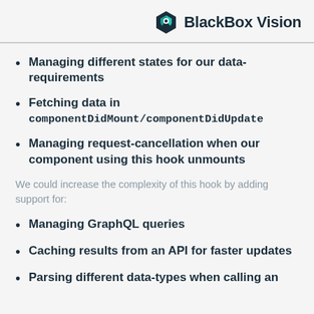BlackBox Vision
Managing different states for our data-requirements
Fetching data in componentDidMount/componentDidUpdate
Managing request-cancellation when our component using this hook unmounts
We could increase the complexity of this hook by adding support for:
Managing GraphQL queries
Caching results from an API for faster updates
Parsing different data-types when calling an